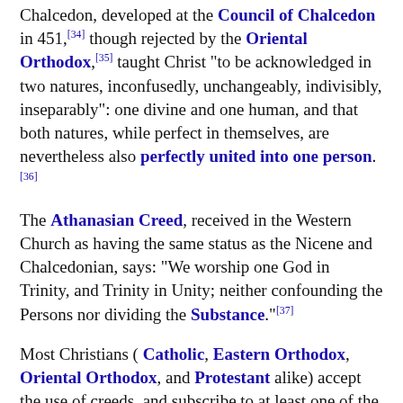Chalcedon, developed at the Council of Chalcedon in 451, [34] though rejected by the Oriental Orthodox, [35] taught Christ "to be acknowledged in two natures, inconfusedly, unchangeably, indivisibly, inseparably": one divine and one human, and that both natures, while perfect in themselves, are nevertheless also perfectly united into one person. [36]
The Athanasian Creed, received in the Western Church as having the same status as the Nicene and Chalcedonian, says: "We worship one God in Trinity, and Trinity in Unity; neither confounding the Persons nor dividing the Substance." [37]
Most Christians ( Catholic, Eastern Orthodox, Oriental Orthodox, and Protestant alike) accept the use of creeds, and subscribe to at least one of the creeds mentioned above. [38]